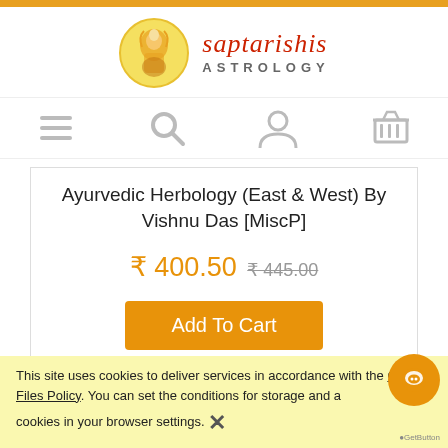[Figure (logo): Saptarishis Astrology logo with deity image and red script text]
[Figure (infographic): Navigation icons: hamburger menu, search magnifier, user/account, shopping basket]
Ayurvedic Herbology (East & West) By Vishnu Das [MiscP]
₹ 400.50 ₹ 445.00
Add To Cart
This site uses cookies to deliver services in accordance with the Cookie Files Policy. You can set the conditions for storage and access to cookies in your browser settings.